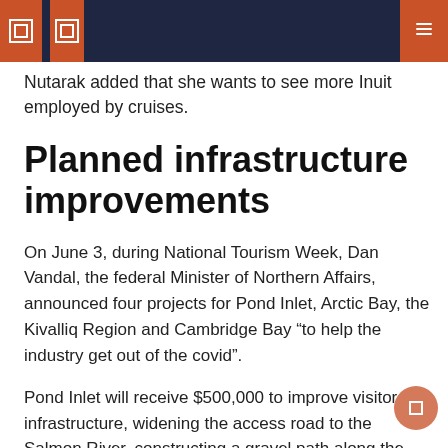Nutarak added that she wants to see more Inuit employed by cruises.
Planned infrastructure improvements
On June 3, during National Tourism Week, Dan Vandal, the federal Minister of Northern Affairs, announced four projects for Pond Inlet, Arctic Bay, the Kivalliq Region and Cambridge Bay “to help the industry get out of the covid”.
Pond Inlet will receive $500,000 to improve visitor infrastructure, widening the access road to the Salmon River, constructing a gravel path along the Salmon River and erecting a lookout at the existing destination sign.